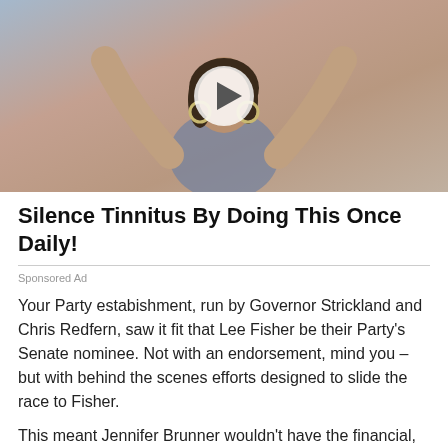[Figure (photo): Advertisement image showing a woman with arms raised behind her head, wearing a dark tank top, with a play button overlay indicating a video ad]
Silence Tinnitus By Doing This Once Daily!
Sponsored Ad
Your Party estabishment, run by Governor Strickland and Chris Redfern, saw it fit that Lee Fisher be their Party's Senate nominee. Not with an endorsement, mind you – but with behind the scenes efforts designed to slide the race to Fisher.
This meant Jennifer Brunner wouldn't have the financial, grassroots, or organizational support afforded to her primary opponent. And it has cost her the race.
Now she may stick it out. And if so, good for her.